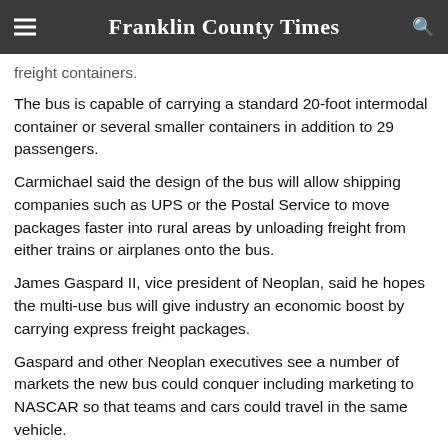Franklin County Times
freight containers.
The bus is capable of carrying a standard 20-foot intermodal container or several smaller containers in addition to 29 passengers.
Carmichael said the design of the bus will allow shipping companies such as UPS or the Postal Service to move packages faster into rural areas by unloading freight from either trains or airplanes onto the bus.
James Gaspard II, vice president of Neoplan, said he hopes the multi-use bus will give industry an economic boost by carrying express freight packages.
Gaspard and other Neoplan executives see a number of markets the new bus could conquer including marketing to NASCAR so that teams and cars could travel in the same vehicle.
Mayor John Robert Smith, who also examined the bus, said it could help bridge the gap between transportation modes making intermodal hubs such as Union Station essential.
Carmichael said he too can see the need for an intermodal park due to the increase in intermodal transportation, such as the bus. Carmichael said some companies are already developing